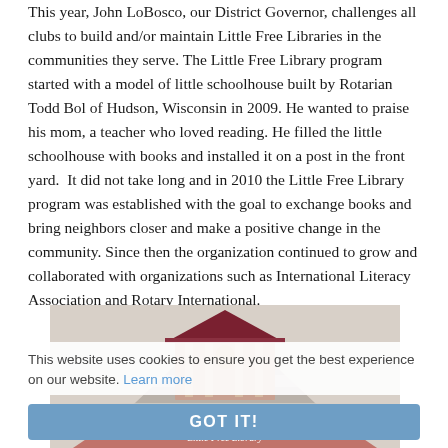This year, John LoBosco, our District Governor, challenges all clubs to build and/or maintain Little Free Libraries in the communities they serve. The Little Free Library program started with a model of little schoolhouse built by Rotarian Todd Bol of Hudson, Wisconsin in 2009. He wanted to praise his mom, a teacher who loved reading. He filled the little schoolhouse with books and installed it on a post in the front yard.  It did not take long and in 2010 the Little Free Library program was established with the goal to exchange books and bring neighbors closer and make a positive change in the community. Since then the organization continued to grow and collaborated with organizations such as International Literacy Association and Rotary International.
[Figure (photo): A miniature schoolhouse-style Little Free Library on a post, with stacked books at the base forming a decorative display. Text on the books reads 'Father Bol Memorial Library' and 'Little Free Library'.]
This website uses cookies to ensure you get the best experience on our website. Learn more
GOT IT!